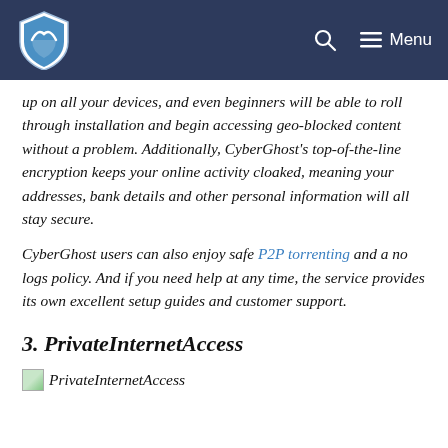VPN review site header with shield logo and navigation
up on all your devices, and even beginners will be able to roll through installation and begin accessing geo-blocked content without a problem. Additionally, CyberGhost's top-of-the-line encryption keeps your online activity cloaked, meaning your addresses, bank details and other personal information will all stay secure.
CyberGhost users can also enjoy safe P2P torrenting and a no logs policy. And if you need help at any time, the service provides its own excellent setup guides and customer support.
3. PrivateInternetAccess
[Figure (photo): PrivateInternetAccess logo/image placeholder at bottom of page]